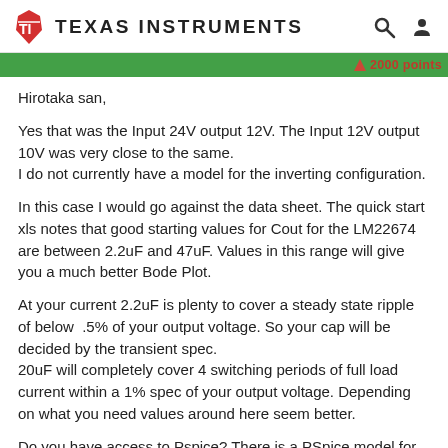Texas Instruments
Hirotaka san,
Yes that was the Input 24V output 12V. The Input 12V output 10V was very close to the same.
I do not currently have a model for the inverting configuration.
In this case I would go against the data sheet. The quick start xls notes that good starting values for Cout for the LM22674 are between 2.2uF and 47uF. Values in this range will give you a much better Bode Plot.
At your current 2.2uF is plenty to cover a steady state ripple of below  .5% of your output voltage. So your cap will be decided by the transient spec.
20uF will completely cover 4 switching periods of full load current within a 1% spec of your output voltage. Depending on what you need values around here seem better.
Do you have access to Pspice? There is a PSpice model for this on the product folder that you could use to simulate your selection. Both fast transient and periodic...